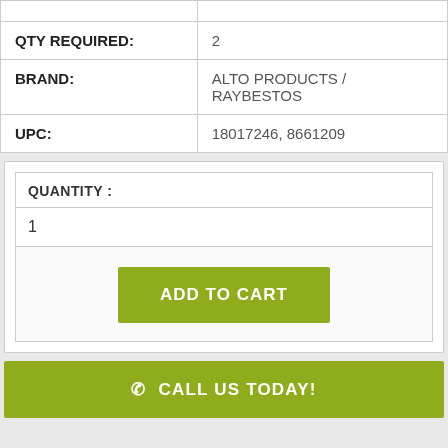| QTY REQUIRED: | 2 |
| BRAND: | ALTO PRODUCTS / RAYBESTOS |
| UPC: | 18017246, 8661209 |
QUANTITY :
1
ADD TO CART
CALL US TODAY!